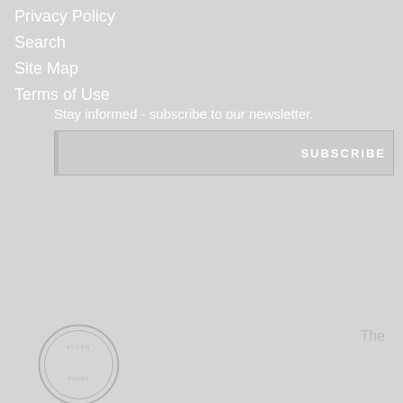Privacy Policy
Search
Site Map
Terms of Use
Stay informed - subscribe to our newsletter.
SUBSCRIBE
The
[Figure (logo): Circular seal/logo at bottom left of page]